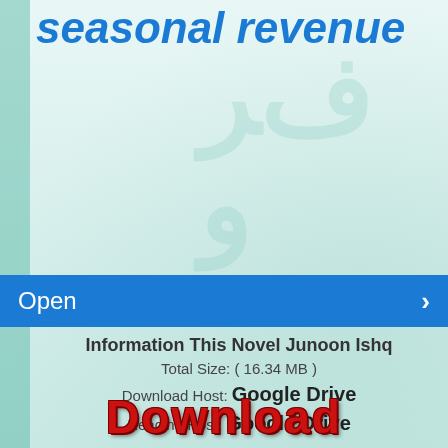seasonal revenue
Open
Information This Novel Junoon Ishq
Total Size: ( 16.34 MB )
Download Host: Google Drive
Reading Host: Google Drive
Largest Urdu Novels Collection Read Online And Free Download. To Download this Novel in PDF Format, Click the Link Below.
DOWNLOAD